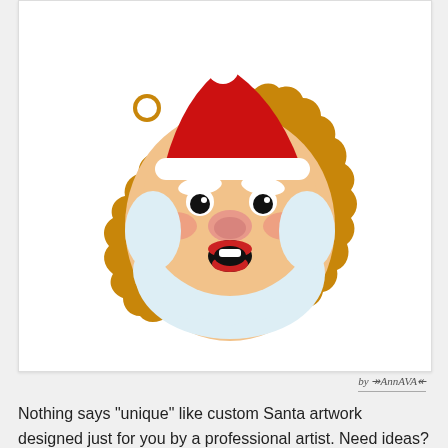[Figure (illustration): A cartoon Santa Claus face illustration styled as a gingerbread cookie with a golden scalloped edge. Santa has a red hat with white trim and pompom, white beard, rosy cheeks, pink nose, black eyes, and an open smiling mouth showing red lips.]
by ↠AnnAVA↞
Nothing says "unique" like custom Santa artwork designed just for you by a professional artist. Need ideas? We've collected some amazing examples of